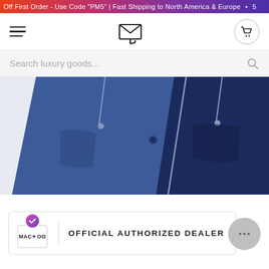Off First Order - Use Code "PM5" | Fast Shipping to North America & Europe • 5
[Figure (screenshot): Website navigation bar with hamburger menu icon on left, stylized M logo in center, and shopping cart icon on right]
Search luxury goods...
[Figure (photo): Close-up product photo of navy blue clothing item showing zipper details and pocket on a light grey background]
[Figure (logo): Mackoo brand logo with official authorized dealer badge showing purple gradient checkmark and Mackoo text]
OFFICIAL AUTHORIZED DEALER